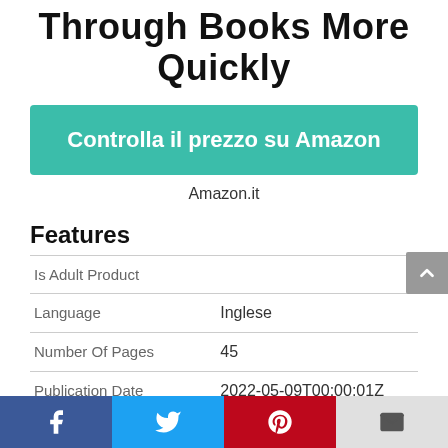Through Books More Quickly
Controlla il prezzo su Amazon
Amazon.it
Features
| Is Adult Product |  |
| Language | Inglese |
| Number Of Pages | 45 |
| Publication Date | 2022-05-09T00:00:01Z |
[Figure (other): Social share footer bar with Facebook, Twitter, Pinterest, and email icons]